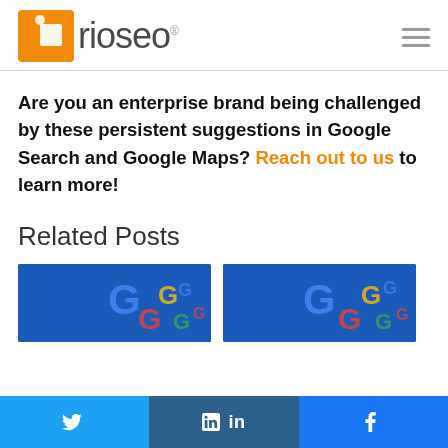[Figure (logo): Rio SEO logo with orange square icon and text 'rio seo' in grey, with registered trademark symbol]
Are you an enterprise brand being challenged by these persistent suggestions in Google Search and Google Maps? Reach out to us to learn more!
Related Posts
[Figure (photo): Two thumbnail images showing Google logo/icons on blue background]
[Figure (infographic): Social share bar with Twitter, LinkedIn, and Facebook buttons]